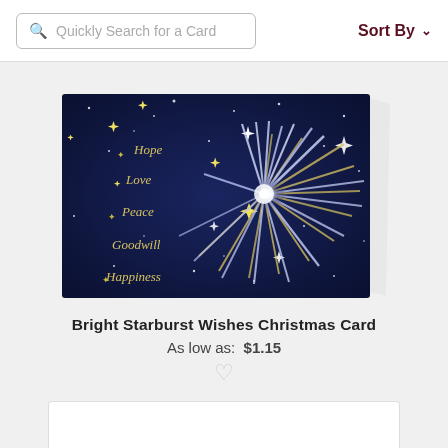Quickly Search for a Card | Sort By
[Figure (illustration): A Christmas card showing a bright starburst firework on a dark navy blue night sky background with stars and gold/silver light rays. Script text on the left reads: Hope, Love, Peace, Goodwill, Happiness. The card is shown slightly angled/propped open.]
Bright Starburst Wishes Christmas Card
As low as:  $1.15